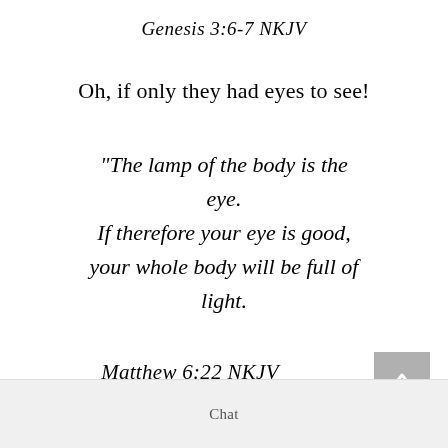Genesis 3:6-7 NKJV
Oh, if only they had eyes to see!
“The lamp of the body is the eye. If therefore your eye is good, your whole body will be full of light.
Matthew 6:22 NKJV
Chat